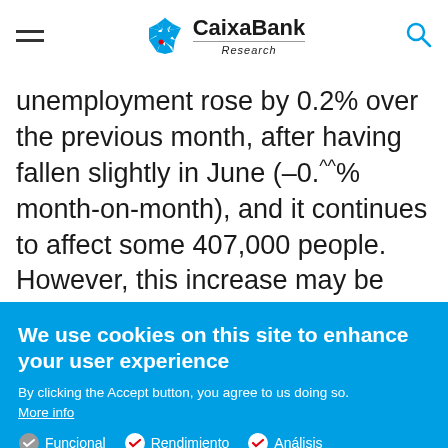CaixaBank Research
unemployment rose by 0.2% over the previous month, after having fallen slightly in June (–0.⌃% month-on-month), and it continues to affect some 407,000 people. However, this increase may be limited by the fact that companies that
We use cookies on this site to enhance your user experience
By clicking the Accept button, you agree to us doing so.
More info
Funcional
Rendimiento
Análisis
Accept